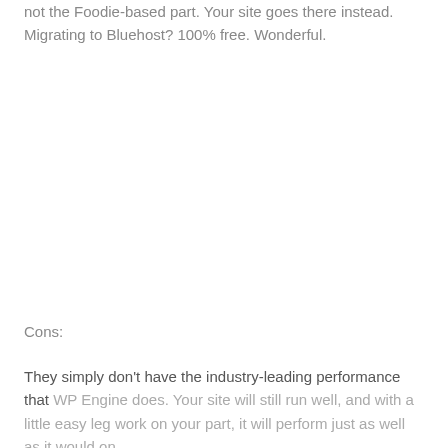not the Foodie-based part. Your site goes there instead. Migrating to Bluehost? 100% free. Wonderful.
Cons:
They simply don't have the industry-leading performance that WP Engine does. Your site will still run well, and with a little easy leg work on your part, it will perform just as well as it would on